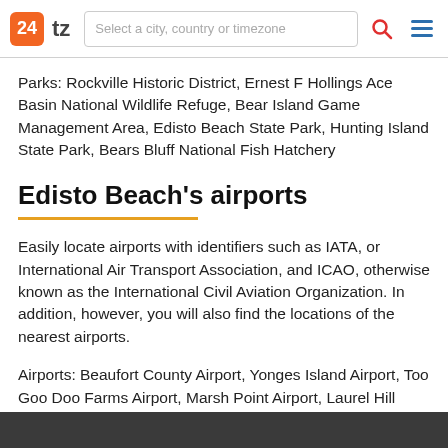24 tz | Select a city, country or timezone
Parks: Rockville Historic District, Ernest F Hollings Ace Basin National Wildlife Refuge, Bear Island Game Management Area, Edisto Beach State Park, Hunting Island State Park, Bears Bluff National Fish Hatchery
Edisto Beach's airports
Easily locate airports with identifiers such as IATA, or International Air Transport Association, and ICAO, otherwise known as the International Civil Aviation Organization. In addition, however, you will also find the locations of the nearest airports.
Airports: Beaufort County Airport, Yonges Island Airport, Too Goo Doo Farms Airport, Marsh Point Airport, Laurel Hill Plantation Airport